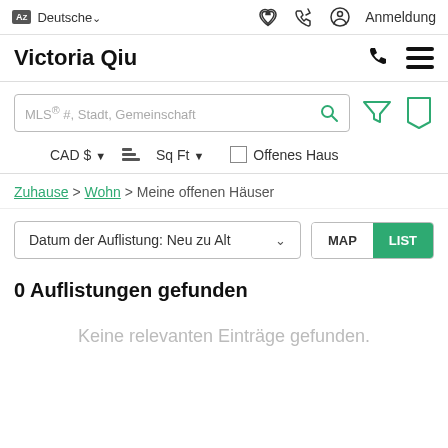AZ Deutsche∨  ♡  ↻  ⊙ Anmeldung
Victoria Qiu
[Figure (screenshot): Search bar with placeholder text 'MLS® #, Stadt, Gemeinschaft', search icon, filter funnel icon, bookmark icon]
CAD $ ▾   [ruler icon] Sq Ft ▾   ☐ Offenes Haus
Zuhause > Wohn > Meine offenen Häuser
Datum der Auflistung: Neu zu Alt ∨  MAP  LIST
0 Auflistungen gefunden
Keine relevanten Einträge gefunden.